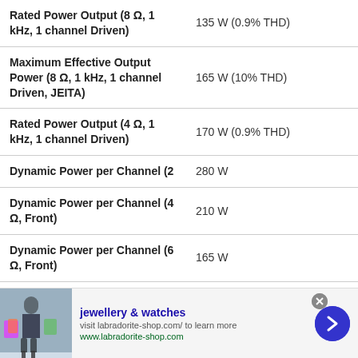| Specification | Value |
| --- | --- |
| Rated Power Output (8 Ω, 1 kHz, 1 channel Driven) | 135 W (0.9% THD) |
| Maximum Effective Output Power (8 Ω, 1 kHz, 1 channel Driven, JEITA) | 165 W (10% THD) |
| Rated Power Output (4 Ω, 1 kHz, 1 channel Driven) | 170 W (0.9% THD) |
| Dynamic Power per Channel (2 | 280 W |
| Dynamic Power per Channel (4 Ω, Front) | 210 W |
| Dynamic Power per Channel (6 Ω, Front) | 165 W |
[Figure (other): Advertisement banner for jewellery & watches - labradorite-shop.com]